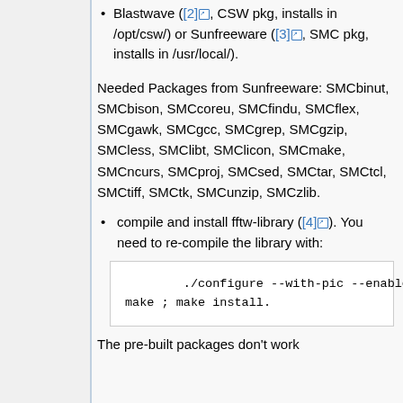Blastwave ([2], CSW pkg, installs in /opt/csw/) or Sunfreeware ([3], SMC pkg, installs in /usr/local/).
Needed Packages from Sunfreeware: SMCbinut, SMCbison, SMCcoreu, SMCfindu, SMCflex, SMCgawk, SMCgcc, SMCgrep, SMCgzip, SMCless, SMClibt, SMClicon, SMCmake, SMCncurs, SMCproj, SMCsed, SMCtar, SMCtcl, SMCtiff, SMCtk, SMCunzip, SMCzlib.
compile and install fftw-library ([4]). You need to re-compile the library with:
./configure --with-pic --enable-shared;
make ; make install.
The pre-built packages don't work